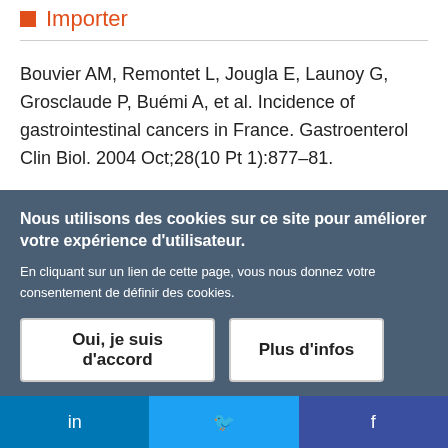Importer
Bouvier AM, Remontet L, Jougla E, Launoy G, Grosclaude P, Buémi A, et al. Incidence of gastrointestinal cancers in France. Gastroenterol Clin Biol. 2004 Oct;28(10 Pt 1):877–81.
Importer
Nous utilisons des cookies sur ce site pour améliorer votre expérience d'utilisateur.
En cliquant sur un lien de cette page, vous nous donnez votre consentement de définir des cookies.
in  Twitter  f